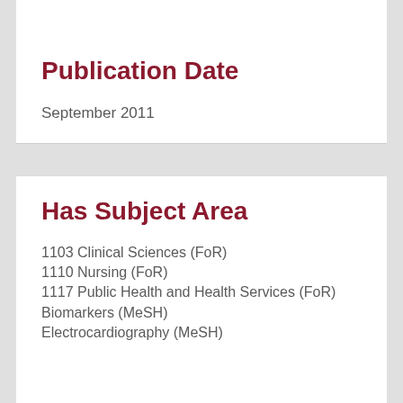Publication Date
September 2011
Has Subject Area
1103 Clinical Sciences (FoR)
1110 Nursing (FoR)
1117 Public Health and Health Services (FoR)
Biomarkers (MeSH)
Electrocardiography (MeSH)